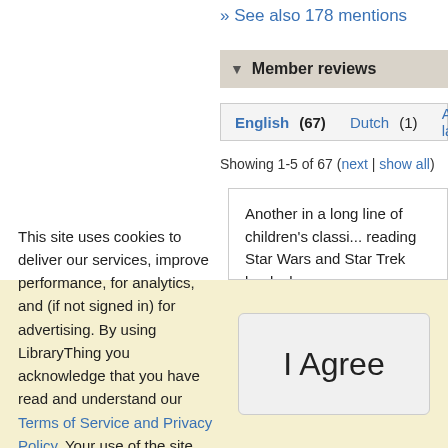» See also 178 mentions
▼ Member reviews
English (67)  Dutch (1)  All languages (68)
Showing 1-5 of 67 (next | show all)
Another in a long line of children's classi... reading Star Wars and Star Trek books b... I'm glad that I have the opportunity now,... what I might have missed.

"The Railway Children" is a curious one,... practically stand by themselves, yet are...
This site uses cookies to deliver our services, improve performance, for analytics, and (if not signed in) for advertising. By using LibraryThing you acknowledge that you have read and understand our Terms of Service and Privacy Policy. Your use of the site and services is subject to these policies and terms.
I Agree